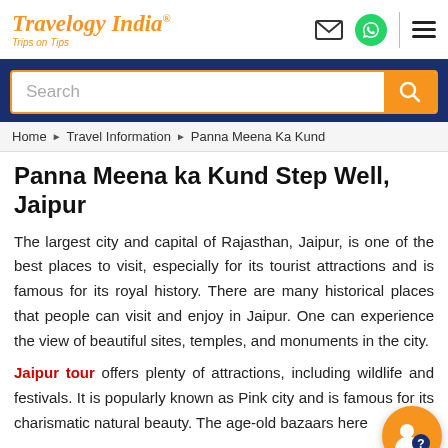Travelogy India® - Trips on Tips
[Figure (screenshot): Search bar with orange search button on dark blue background]
Home › Travel Information › Panna Meena Ka Kund
Panna Meena ka Kund Step Well, Jaipur
The largest city and capital of Rajasthan, Jaipur, is one of the best places to visit, especially for its tourist attractions and is famous for its royal history. There are many historical places that people can visit and enjoy in Jaipur. One can experience the view of beautiful sites, temples, and monuments in the city.
Jaipur tour offers plenty of attractions, including wildlife and festivals. It is popularly known as Pink city and is famous for its charismatic natural beauty. The age-old bazaars here